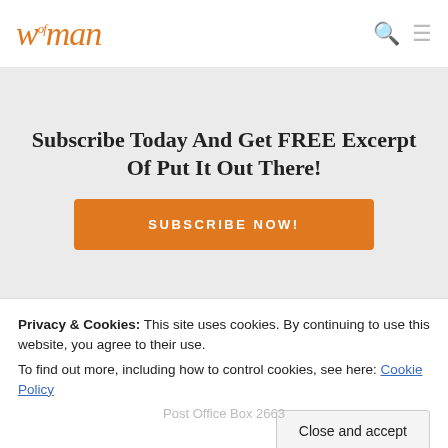woman
Subscribe Today And Get FREE Excerpt Of Put It Out There!
SUBSCRIBE NOW!
Privacy & Cookies: This site uses cookies. By continuing to use this website, you agree to their use. To find out more, including how to control cookies, see here: Cookie Policy
Close and accept
Post Office Box 2663